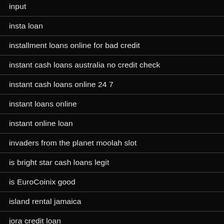input
insta loan
installment loans online for bad credit
instant cash loans australia no credit check
instant cash loans online 24 7
instant loans online
instant online loan
invaders from the planet moolah slot
is bright star cash loans legit
is EuroCoinix good
island rental jamaica
jora credit loan
jora credit loans